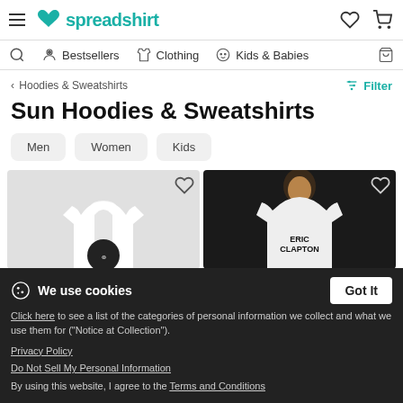spreadshirt — navigation header with hamburger menu, logo, wishlist and cart icons
Bestsellers | Clothing | Kids & Babies
< Hoodies & Sweatshirts
Sun Hoodies & Sweatshirts
Men
Women
Kids
[Figure (screenshot): Two product cards showing white hoodies; left card shows a hoodie on a hanger with a circular graphic design at the bottom; right card shows a man wearing a white Eric Clapton hoodie]
We use cookies
Click here to see a list of the categories of personal information we collect and what we use them for ("Notice at Collection").
Privacy Policy
Do Not Sell My Personal Information
By using this website, I agree to the Terms and Conditions